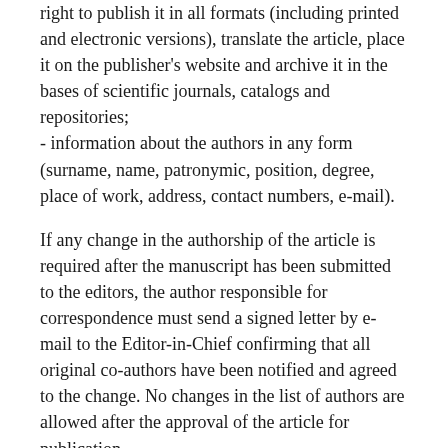right to publish it in all formats (including printed and electronic versions), translate the article, place it on the publisher's website and archive it in the bases of scientific journals, catalogs and repositories;
- information about the authors in any form (surname, name, patronymic, position, degree, place of work, address, contact numbers, e-mail).
If any change in the authorship of the article is required after the manuscript has been submitted to the editors, the author responsible for correspondence must send a signed letter by e-mail to the Editor-in-Chief confirming that all original co-authors have been notified and agreed to the change. No changes in the list of authors are allowed after the approval of the article for publication.
The editors, without the consent of the author, correct terminological and stylistic errors, eliminate unnecessary illustrations. The editors do not pay royalties. Articles that do